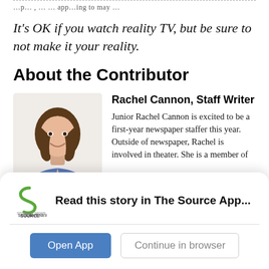…app…ing to may…
It's OK if you watch reality TV, but be sure to not make it your reality.
About the Contributor
[Figure (photo): Headshot photo of Rachel Cannon, a young woman with long brown hair, smiling, wearing a blue denim vest.]
Rachel Cannon, Staff Writer
Junior Rachel Cannon is excited to be a first-year newspaper staffer this year. Outside of newspaper, Rachel is involved in theater. She is a member of
Read this story in The Source App...
Open App
Continue in browser